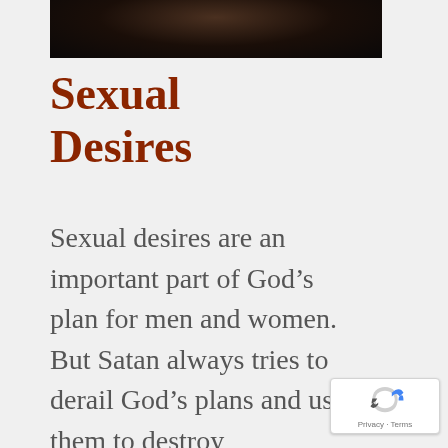[Figure (photo): Dark moody photograph, partially visible at top of page, showing a dark silhouette or figure against a dark background]
Sexual Desires
Sexual desires are an important part of God’s plan for men and women. But Satan always tries to derail God’s plans and use them to destroy